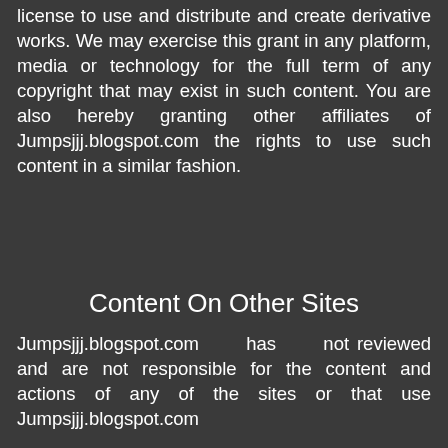license to use and distribute and create derivative works. We may exercise this grant in any platform, media or technology for the full term of any copyright that may exist in such content. You are also hereby granting other affiliates of Jumpsjjj.blogspot.com the rights to use such content in a similar fashion.
Content On Other Sites
Jumpsjjj.blogspot.com has not reviewed and are not responsible for the content and actions of any of the sites or that use Jumpsjjj.blogspot.com